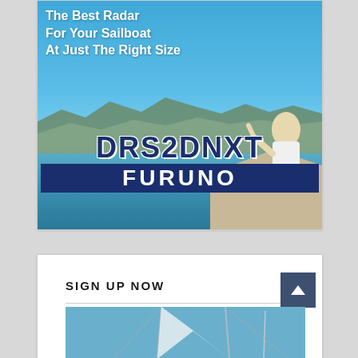[Figure (photo): Advertisement for Furuno DRS2DNXT radar for sailboats. Shows a woman on a sailboat looking at sea with mountains in background. Large bold text reads 'DRS2DNXT' and 'FURUNO' at the bottom. Tagline: 'The Best Radar For Your Sailboat At Just The Right Size'.]
SIGN UP NOW
[Figure (photo): Partial photo of sailboat rigging and sails against blue sky, cropped at bottom of page.]